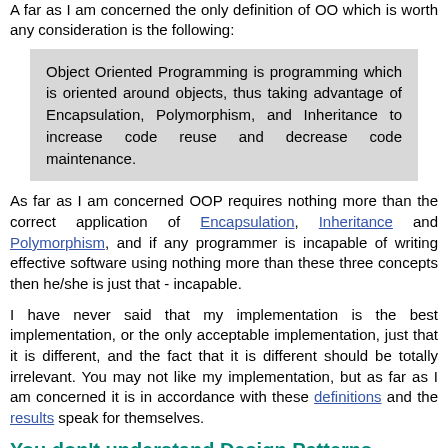A far as I am concerned the only definition of OO which is worth any consideration is the following:
Object Oriented Programming is programming which is oriented around objects, thus taking advantage of Encapsulation, Polymorphism, and Inheritance to increase code reuse and decrease code maintenance.
As far as I am concerned OOP requires nothing more than the correct application of Encapsulation, Inheritance and Polymorphism, and if any programmer is incapable of writing effective software using nothing more than these three concepts then he/she is just that - incapable.
I have never said that my implementation is the best implementation, or the only acceptable implementation, just that it is different, and the fact that it is different should be totally irrelevant. You may not like my implementation, but as far as I am concerned it is in accordance with these definitions and the results speak for themselves.
You don't understand Design Patterns
All too often I am told that I am not using the right design